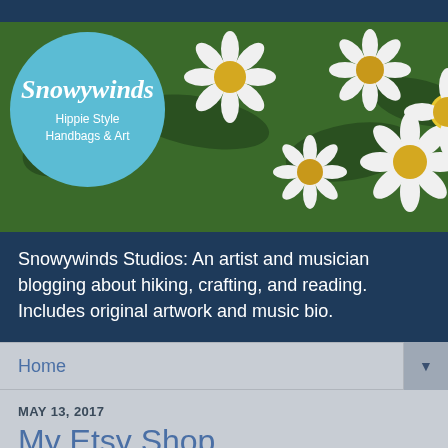[Figure (illustration): Blog banner with daisy flower background and a circular light blue logo showing 'Snowywinds' in italic script with subtitle 'Hippie Style Handbags & Art']
Snowywinds Studios: An artist and musician blogging about hiking, crafting, and reading. Includes original artwork and music bio.
Home
MAY 13, 2017
My Etsy Shop
SnowywindsStudios
I began my Etsy shop in 2011. It doesn't seem like that long ago. I had less than 20 listings, but it was finally time to go